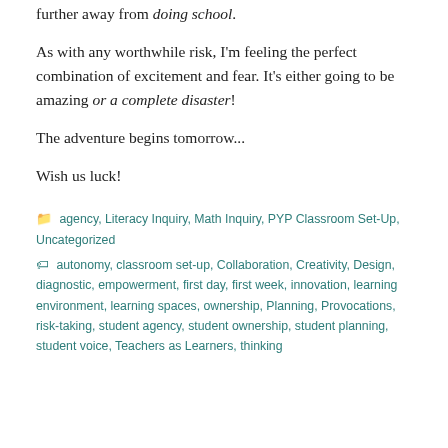further away from doing school.
As with any worthwhile risk, I'm feeling the perfect combination of excitement and fear. It's either going to be amazing or a complete disaster!
The adventure begins tomorrow...
Wish us luck!
agency, Literacy Inquiry, Math Inquiry, PYP Classroom Set-Up, Uncategorized
autonomy, classroom set-up, Collaboration, Creativity, Design, diagnostic, empowerment, first day, first week, innovation, learning environment, learning spaces, ownership, Planning, Provocations, risk-taking, student agency, student ownership, student planning, student voice, Teachers as Learners, thinking